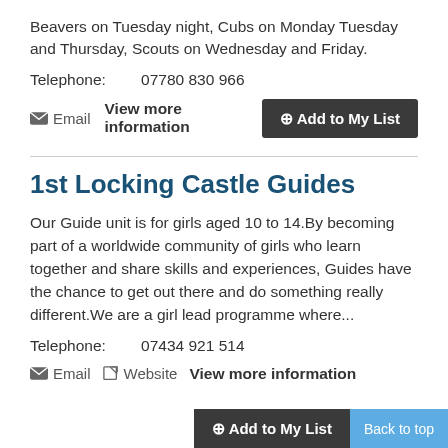Beavers on Tuesday night, Cubs on Monday Tuesday and Thursday, Scouts on Wednesday and Friday.
Telephone:    07780 830 966
✉ Email   View more information   ⊕Add to My List
1st Locking Castle Guides
Our Guide unit is for girls aged 10 to 14.By becoming part of a worldwide community of girls who learn together and share skills and experiences, Guides have the chance to get out there and do something really different.We are a girl lead programme where...
Telephone:    07434 921 514
✉ Email   ✎ Website   View more information
⊕Add to My List   Back to top